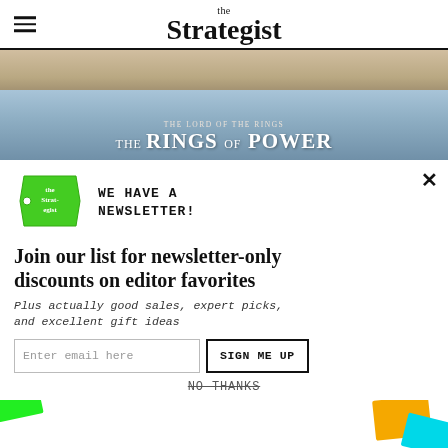the Strategist
[Figure (screenshot): Advertisement banner for The Lord of the Rings: The Rings of Power, showing a blonde woman above text overlaid on a ring image]
[Figure (logo): The Strategist green price-tag logo]
WE HAVE A NEWSLETTER!
Join our list for newsletter-only discounts on editor favorites
Plus actually good sales, expert picks, and excellent gift ideas
Enter email here
SIGN ME UP
NO THANKS